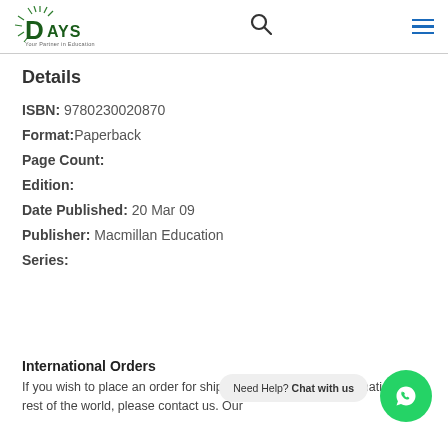Days — Your Partner in Education (logo, search icon, menu icon)
Details
ISBN: 9780230020870
Format: Paperback
Page Count:
Edition:
Date Published: 20 Mar 09
Publisher: Macmillan Education
Series:
International Orders
If you wish to place an order for shipping to a Caribbean destination or rest of the world, please contact us. Our